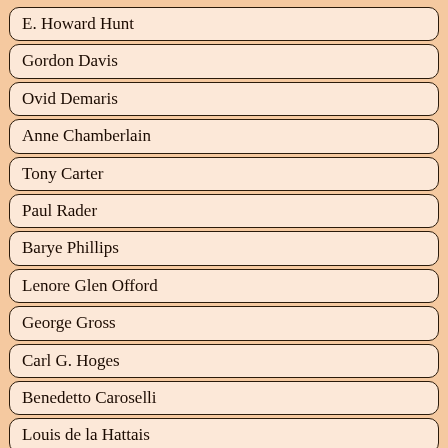E. Howard Hunt
Gordon Davis
Ovid Demaris
Anne Chamberlain
Tony Carter
Paul Rader
Barye Phillips
Lenore Glen Offord
George Gross
Carl G. Hoges
Benedetto Caroselli
Louis de la Hattais